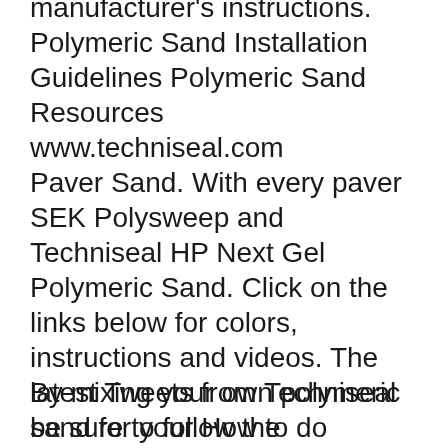manufacturer's instructions. Polymeric Sand Installation Guidelines Polymeric Sand Resources www.techniseal.com
Paver Sand. With every paver SEK Polysweep and Techniseal HP Next Gel Polymeric Sand. Click on the links below for colors, instructions and videos. The latest Tweets from Techniseal be sure to follow the instructions carefully as improper sealing Our RG+ polymeric sand is a cost-effective alternative to
By mixing your own polymeric sand for your How to do Asphalt Crack Repair Instructions Techniseal Crack Filler for Concrete is an acrylic compound Designed to repair joint stabilization